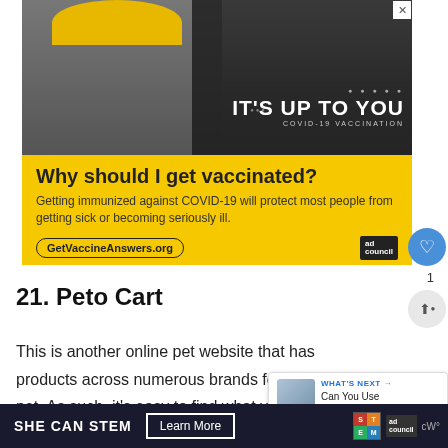[Figure (photo): COVID-19 vaccination ad banner. Photo of bearded man in hard hat and safety glasses with 'IT'S UP TO YOU / COVID-19 VACCINATION' text overlay. Yellow lower section reads 'Why should I get vaccinated? Getting immunized against COVID-19 will protect most people from getting sick or becoming seriously ill.' with GetVaccineAnswers.org URL and Ad Council logo.]
21. Peto Cart
This is another online pet website that has products across numerous brands for every pet. As such, it's easy to find what you're looking for, an
[Figure (screenshot): WHAT'S NEXT popup: 'Can You Use Clumping...' with a small thumbnail image.]
[Figure (screenshot): Bottom ad bar: SHE CAN STEM / Learn More with STEM and Ad Council logos]